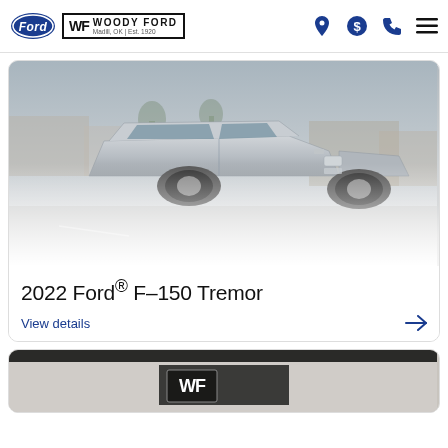Woody Ford | Madill, OK | Est. 1920
[Figure (photo): Silver 2022 Ford F-150 Tremor pickup truck parked in a lot, angled front-right view, with buildings and trees in background. Image fades to white at bottom.]
2022 Ford® F-150 Tremor
View details →
[Figure (photo): Partial view of a building/sign with WF logo, bottom portion of page, cropped.]